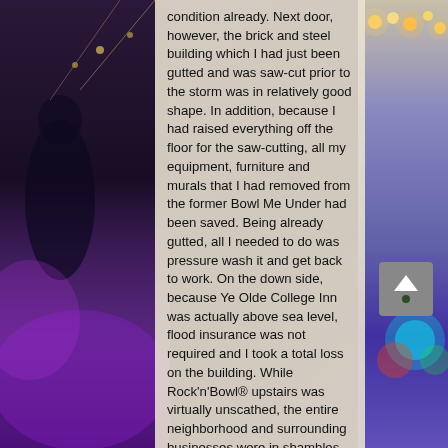condition already. Next door, however, the brick and steel building which I had just been gutted and was saw-cut prior to the storm was in relatively good shape. In addition, because I had raised everything off the floor for the saw-cutting, all my equipment, furniture and murals that I had removed from the former Bowl Me Under had been saved. Being already gutted, all I needed to do was pressure wash it and get back to work. On the down side, because Ye Olde College Inn was actually above sea level, flood insurance was not required and I took a total loss on the building. While Rock'n'Bowl® upstairs was virtually unscathed, the entire neighborhood and surrounding businesses were in shambles. City officials initially told me that it would be April or May of 2006 before electricity would be accessible.
[Figure (photo): Background photo of a music/entertainment venue with purple and colorful stage lighting visible on left and right sides behind a central semi-transparent beige text overlay panel.]